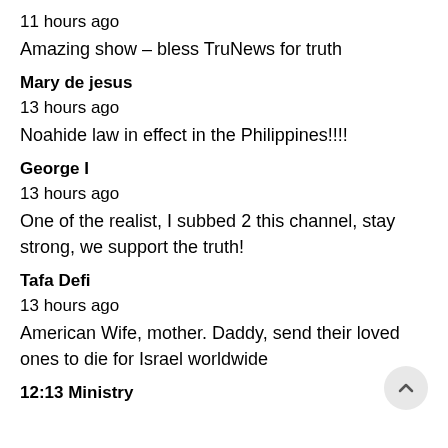11 hours ago
Amazing show – bless TruNews for truth
Mary de jesus
13 hours ago
Noahide law in effect in the Philippines!!!!
George I
13 hours ago
One of the realist, I subbed 2 this channel, stay strong, we support the truth!
Tafa Defi
13 hours ago
American Wife, mother. Daddy, send their loved ones to die for Israel worldwide
12:13 Ministry